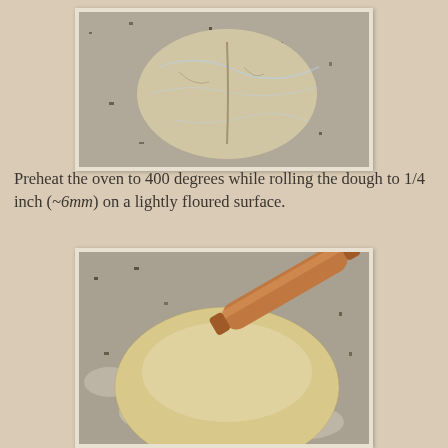[Figure (photo): A round disc of dough wrapped in plastic wrap, sitting on a granite countertop surface.]
Preheat the oven to 400 degrees while rolling the dough to 1/4 inch (~6mm) on a lightly floured surface.
[Figure (photo): A round flat dough disc rolled out on a floured granite countertop, with a wooden rolling pin visible in the upper right corner.]